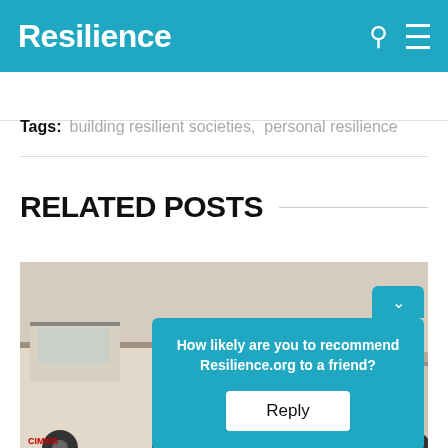Resilience
Tags: building resilient societies, personal resilience
RELATED POSTS
[Figure (photo): Photograph of trucks or large vehicles, hazy sky background, partially obscured by survey overlay]
How likely are you to recommend Resilience.org to a friend? Reply